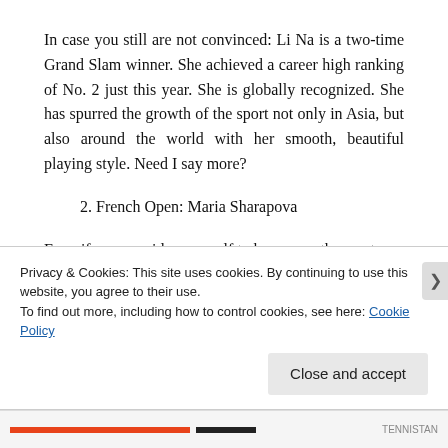In case you still are not convinced: Li Na is a two-time Grand Slam winner. She achieved a career high ranking of No. 2 just this year. She is globally recognized. She has spurred the growth of the sport not only in Asia, but also around the world with her smooth, beautiful playing style. Need I say more?
2. French Open: Maria Sharapova
Even if you consider yourself to be among the most
Privacy & Cookies: This site uses cookies. By continuing to use this website, you agree to their use.
To find out more, including how to control cookies, see here: Cookie Policy